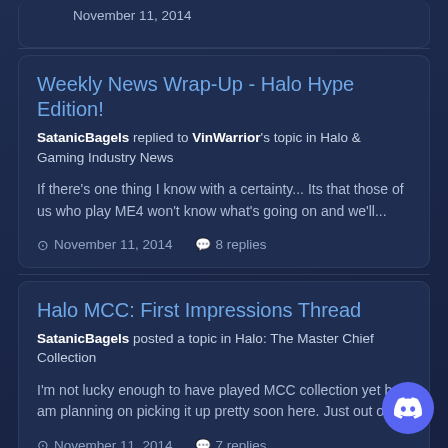November 11, 2014
Weekly News Wrap-Up - Halo Hype Edition!
SatanicBagels replied to VinWarrior's topic in Halo & Gaming Industry News
If there's one thing I know with a certainty... Its that those of us who play ME4 won't know what's going on and we'll...
November 11, 2014   8 replies
Halo MCC: First Impressions Thread
SatanicBagels posted a topic in Halo: The Master Chief Collection
I'm not lucky enough to have played MCC collection yet but am planning on picking it up pretty soon here. Just out of...
November 11, 2014   7 replies
Forum Gaming Census